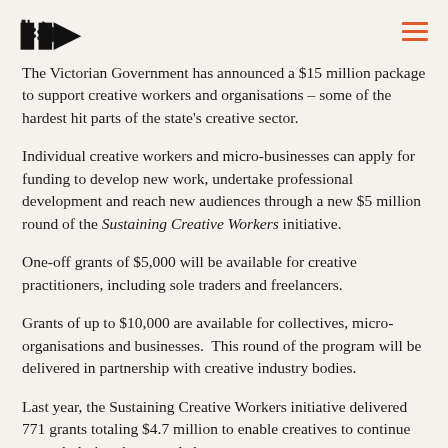BDD (logo)
The Victorian Government has announced a $15 million package to support creative workers and organisations – some of the hardest hit parts of the state's creative sector.
Individual creative workers and micro-businesses can apply for funding to develop new work, undertake professional development and reach new audiences through a new $5 million round of the Sustaining Creative Workers initiative.
One-off grants of $5,000 will be available for creative practitioners, including sole traders and freelancers.
Grants of up to $10,000 are available for collectives, micro-organisations and businesses.  This round of the program will be delivered in partnership with creative industry bodies.
Last year, the Sustaining Creative Workers initiative delivered 771 grants totaling $4.7 million to enable creatives to continue to work during the extended…